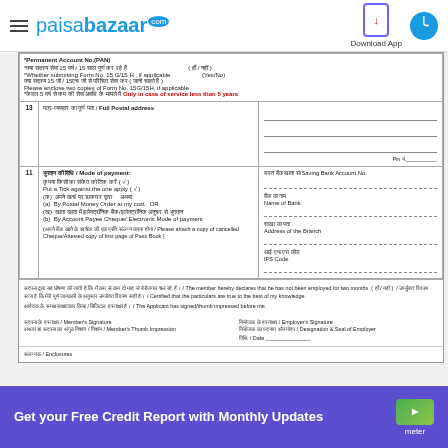paisabazaar.com — Download App
|  | Field | Details |
| --- | --- | --- |
|  | *Permanent Account No.(PAN) |  |
|  | *क्या सदस्य सेवा 15 वर्ष / 15 साल पूर्ण कर रहे हैं ( हाँ / नहीं ) | (हाँ / नहीं) |
|  | *Whether submitting Form No. 15 G/15 H , if applicable | (Yes/No) |
|  | क्या सदस्य 15 जी / 15एच जी से परिचित सेवा कर ( जानी चाहते हैं ) |  |
|  | Please enclose two copies of Form No. 15G/15H, if applicable |  |
|  | *केवल 5 वर्ष से कम की सेवा अवधि के मामले में Only in case of service less than 5 years |  |
| 13 | पत्र-व्यवहार का पूर्ण पता / Full Postal address |  |
| 11 | भुगतान की विधि / Mode of payment: | बचत बैंक खाता सं/Saving Bank Account No. |
|  | कृपया किसी का संकेत को टिक करें ( √ ) |  |
|  | (क) अपने खर्च पर डाकघर द्वारा    अथवा
(a) By Postal Money Order at my cost   OR
(ख) खाता खाता में इलेक्ट्रॉनिक बैंक/इलेक्ट्रॉनिक अनुचर से भुगतान
(b) By Account Payee Cheque/ Electronic Mode of payment | बैंक का नाम
Name of Bank

शाखा का पता
Address of the Branch

आई एफ एस कोड
IFS Code |
(अपने बैंक खाते के रद्द चेक की एक प्रति संलग्न करना होगा / Please attach a copy of cancelled Cheque/Attested copy of first page of Pass Book )
सदस्य द्वारा यह घोषणा की जाती है कि मैं कम से कम दो माह से बेरोजगार चल रहे हैं। / The member hereby declares that he has not been employed for two months. (Yes/No) / उपर्युक्त विवरण सत्य है कि मेरी पूर्ण जानकारी के अनुसार उपरोक्त विवरण सही है। / Certified that the particulars are true to the best of my knowledge. / आवेदक के समक्ष साक्षात्कार किया / डिजिटल हस्ताक्षर है। / The Applicant has signed/thumb impressed before me.
सदस्य के हस्ताक्षर / Member's Signature
अथवा डा सदस्य का अंगुठ निशान / Member's Thumb Impression
नियोजक के हस्ताक्षर / Employer's Signature
नियोजक का पदनाम और मोहर / Designation & Seal of Employer
तिथि / Date
संलग्नक / Enclosures
Get your Free Credit Report with Monthly Updates